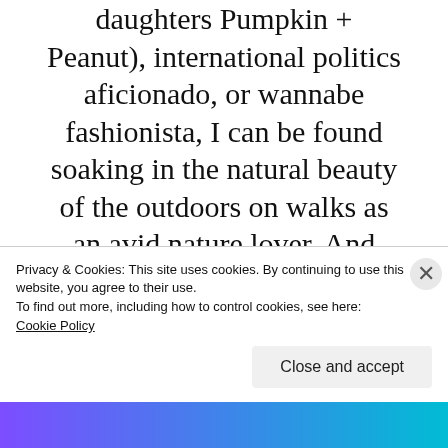daughters Pumpkin + Peanut), international politics aficionado, or wannabe fashionista, I can be found soaking in the natural beauty of the outdoors on walks as an avid nature lover. And yes, talking—a lot.
[Figure (illustration): A small pen/pencil icon illustration]
Privacy & Cookies: This site uses cookies. By continuing to use this website, you agree to their use.
To find out more, including how to control cookies, see here: Cookie Policy
Close and accept